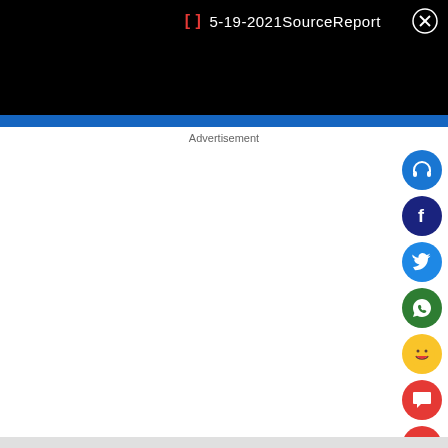5-19-2021SourceReport
Advertisement
[Figure (screenshot): Social media share sidebar with icons: headphones (blue), Facebook (dark blue), Twitter (light blue), WhatsApp (green), laughing emoji (yellow), chat bubble (red), comment (red), share (red)]